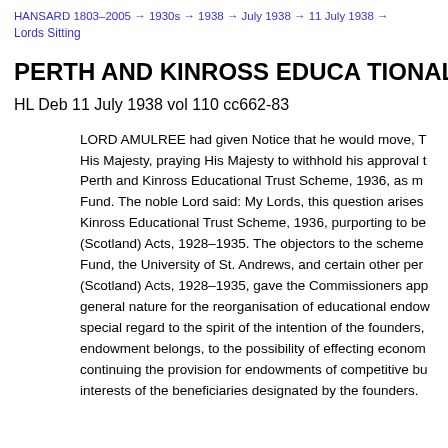HANSARD 1803–2005 → 1930s → 1938 → July 1938 → 11 July 1938 →
Lords Sitting
PERTH AND KINROSS EDUCATIONAL TRUST SCH…
HL Deb 11 July 1938 vol 110 cc662-83
LORD AMULREE had given Notice that he would move, T… His Majesty, praying His Majesty to withhold his approval t… Perth and Kinross Educational Trust Scheme, 1936, as m… Fund. The noble Lord said: My Lords, this question arises … Kinross Educational Trust Scheme, 1936, purporting to be… (Scotland) Acts, 1928–1935. The objectors to the scheme… Fund, the University of St. Andrews, and certain other per… (Scotland) Acts, 1928–1935, gave the Commissioners app… general nature for the reorganisation of educational endow… special regard to the spirit of the intention of the founders,… endowment belongs, to the possibility of effecting econom… continuing the provision for endowments of competitive bu… interests of the beneficiaries designated by the founders.